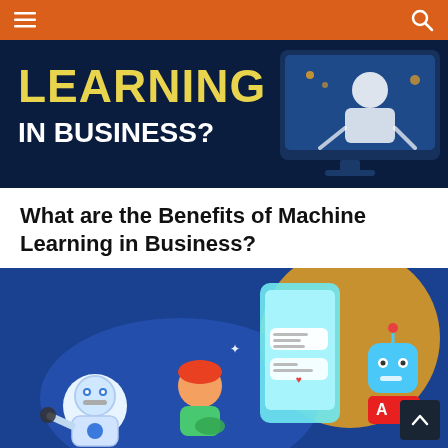[Figure (illustration): Partial banner image with dark blue background showing text 'LEARNING IN BUSINESS?' in yellow/white and a figure on a monitor screen]
What are the Benefits of Machine Learning in Business?
[Figure (illustration): Blue illustrated scene showing a robot and a person interacting with a smartphone, chat bubbles, and a friendly bot character, representing machine learning / AI in business]